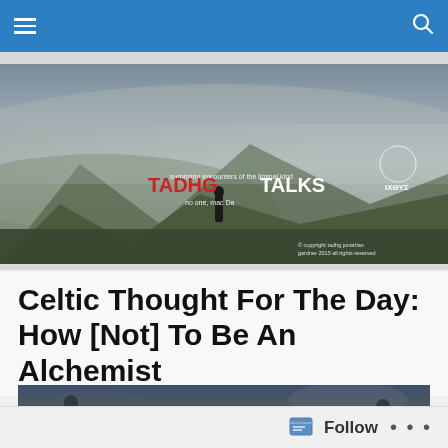Navigation bar with hamburger menu and search icon
[Figure (photo): TADHG TALKS blog banner image: misty mountain landscape with a lone figure, overlaid with the text 'TADHG TALKS' in red and white, tagline 'surprising encounters of the liminal kind', 'no one, mac Da', Celtic symbol and ΙΧΘΥΣ text on the right, copyright notice for tadhg jonathan gardner 2015]
Celtic Thought For The Day: How [Not] To Be An Alchemist
[Figure (photo): Dark atmospheric image showing silhouetted figures with a glowing orb/light in the center, overlaid with text: 'How [not] to be an alchemist... When you already are.']
Follow  •••